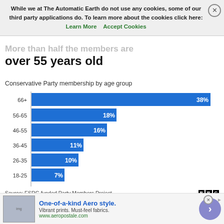While we at The Automatic Earth do not use any cookies, some of our third party applications do. To learn more about the cookies click here: Learn More  Accept Cookies
More than half the members are over 55 years old
Conservative Party membership by age group
[Figure (bar-chart): Conservative Party membership by age group]
Source: ESRC-funded Party Members Project
One-of-a-kind Aero style. Vibrant prints. Must-feel fabrics. www.aeropostale.com